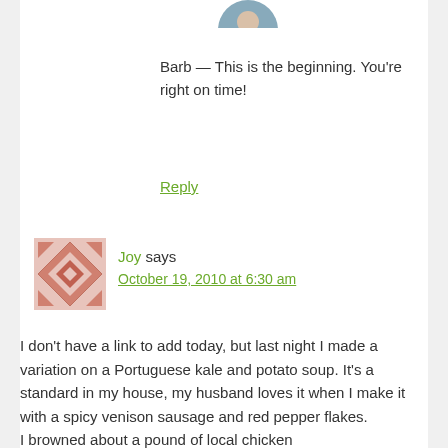[Figure (photo): Small circular avatar photo of a person, partially visible at top]
Barb — This is the beginning. You're right on time!
Reply
[Figure (illustration): Square geometric pattern avatar for user Joy, red/pink diamond quilt pattern]
Joy says October 19, 2010 at 6:30 am
I don't have a link to add today, but last night I made a variation on a Portuguese kale and potato soup. It's a standard in my house, my husband loves it when I make it with a spicy venison sausage and red pepper flakes.
I browned about a pound of local chicken